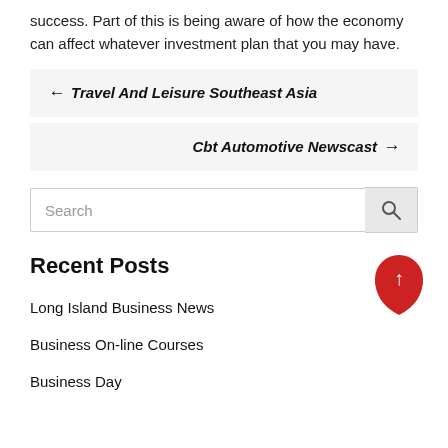success. Part of this is being aware of how the economy can affect whatever investment plan that you may have.
← Travel And Leisure Southeast Asia
Cbt Automotive Newscast →
Search
Recent Posts
Long Island Business News
Business On-line Courses
Business Day